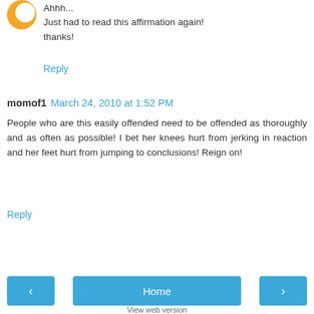[Figure (illustration): Orange circular avatar icon partially visible at top left]
Ahhh...
Just had to read this affirmation again!
thanks!
Reply
momof1  March 24, 2010 at 1:52 PM
People who are this easily offended need to be offended as thoroughly and as often as possible! I bet her knees hurt from jerking in reaction and her feet hurt from jumping to conclusions! Reign on!
Reply
Home